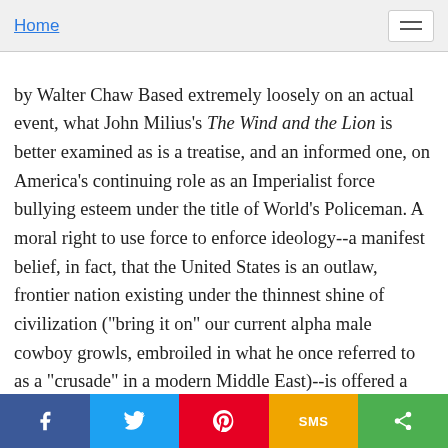Home
by Walter Chaw Based extremely loosely on an actual event, what John Milius's The Wind and the Lion is better examined as is a treatise, and an informed one, on America's continuing role as an Imperialist force bullying esteem under the title of World's Policeman. A moral right to use force to enforce ideology--a manifest belief, in fact, that the United States is an outlaw, frontier nation existing under the thinnest shine of civilization ("bring it on" our current alpha male cowboy growls, embroiled in what he once referred to as a "crusade" in a modern Middle East)--is offered a mirror in the film first by Brian Keith's exceptional Theodore Roosevelt, then by rakish Berber the Raisuli (Sean Connery), at war with his own Moroccan government in showdowns recalling Lawrence of Arabia tumbled with The Wild Bunch. The marriage of epic romance and the epic romanticization of brutality is, after all, the main